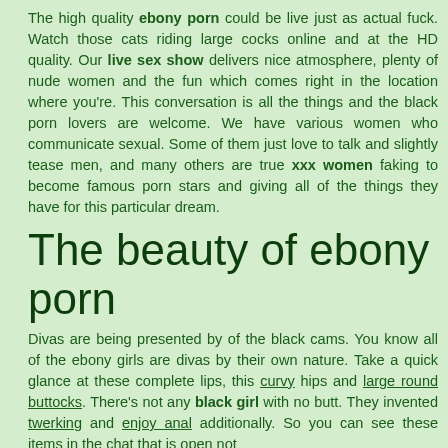The high quality ebony porn could be live just as actual fuck. Watch those cats riding large cocks online and at the HD quality. Our live sex show delivers nice atmosphere, plenty of nude women and the fun which comes right in the location where you're. This conversation is all the things and the black porn lovers are welcome. We have various women who communicate sexual. Some of them just love to talk and slightly tease men, and many others are true xxx women faking to become famous porn stars and giving all of the things they have for this particular dream.
The beauty of ebony porn
Divas are being presented by of the black cams. You know all of the ebony girls are divas by their own nature. Take a quick glance at these complete lips, this curvy hips and large round buttocks. There's not any black girl with no butt. They invented twerking and enjoy anal additionally. So you can see these items in the chat that is open not